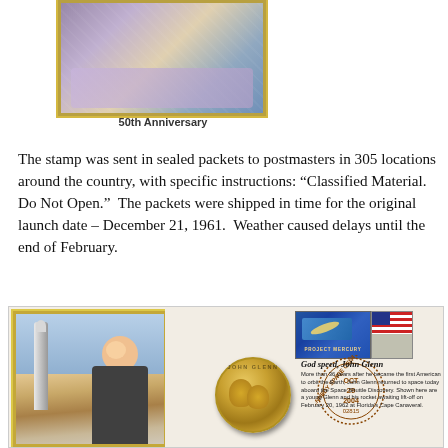[Figure (photo): Partial view of a stamp showing an illustrated scene, with gold perforated border, partially cut off at top]
50th Anniversary
The stamp was sent in sealed packets to postmasters in 305 locations around the country, with specific instructions: “Classified Material. Do Not Open.”  The packets were shipped in time for the original launch date – December 21, 1961.  Weather caused delays until the end of February.
[Figure (photo): First day cover envelope featuring: left side a stamp with John Glenn and rocket portrait in gold frame; center a gold commemorative medal with John Glenn; upper right Project Mercury stamp and US flag stamp; Kennedy Space Center postmark dated OCT 29 2004, number 02815; right side text reading 'God speed, John Glenn' with descriptive paragraph about Glenn returning to space aboard Space Shuttle Discovery]